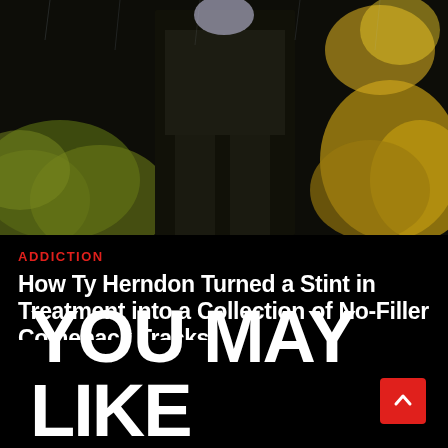[Figure (photo): Dark nighttime photo of a person standing outdoors with yellow/green foliage and bokeh lights in background]
ADDICTION
How Ty Herndon Turned a Stint in Treatment into a Collection of No-Filler Comeback Tracks
YOU MAY LIKE